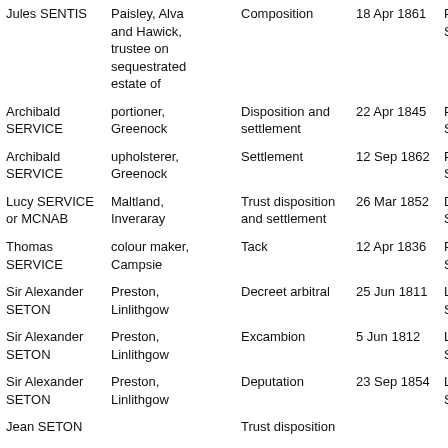| Name | Description | Document type | Date | Court |
| --- | --- | --- | --- | --- |
| Jules SENTIS | Paisley, Alva and Hawick, trustee on sequestrated estate of | Composition | 18 Apr 1861 | Paisley SC |
| Archibald SERVICE | portioner, Greenock | Disposition and settlement | 22 Apr 1845 | Paisley SC |
| Archibald SERVICE | upholsterer, Greenock | Settlement | 12 Sep 1862 | Paisley SC |
| Lucy SERVICE or MCNAB | Maltland, Inveraray | Trust disposition and settlement | 26 Mar 1852 | Dunoon SC |
| Thomas SERVICE | colour maker, Campsie | Tack | 12 Apr 1836 | Paisley SC |
| Sir Alexander SETON | Preston, Linlithgow | Decreet arbitral | 25 Jun 1811 | Linlithgow SC |
| Sir Alexander SETON | Preston, Linlithgow | Excambion | 5 Jun 1812 | Linlithgow SC |
| Sir Alexander SETON | Preston, Linlithgow | Deputation | 23 Sep 1854 | Linlithgow SC |
| Jean SETON |  | Trust disposition |  |  |